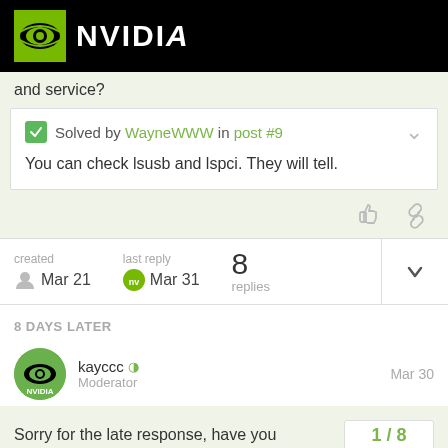NVIDIA
and service?
✓ Solved by WayneWWW in post #9
You can check lsusb and lspci. They will tell.
created Mar 21   last reply Mar 31   8 replies
8 DAYS LATER
kayccc  Moderator   Mar 30
Sorry for the late response, have you